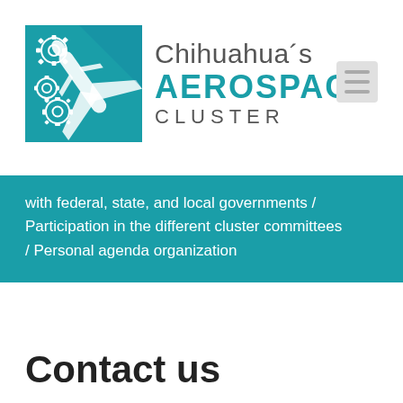[Figure (logo): Chihuahua's Aerospace Cluster logo with teal square icon showing airplane and gears, and text 'Chihuahua's AEROSPACE CLUSTER']
with federal, state, and local governments / Participation in the different cluster committees / Personal agenda organization
Contact us